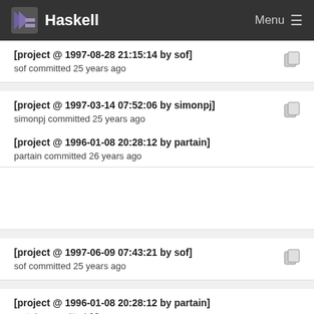Haskell  Menu
[project @ 1997-08-28 21:15:14 by sof]
sof committed 25 years ago
[project @ 1997-03-14 07:52:06 by simonpj]
simonpj committed 25 years ago
[project @ 1996-01-08 20:28:12 by partain]
partain committed 26 years ago
[project @ 1997-06-09 07:43:21 by sof]
sof committed 25 years ago
[project @ 1996-01-08 20:28:12 by partain]
partain committed 26 years ago
[project @ 1997-03-14 07:52:06 by simonpj]